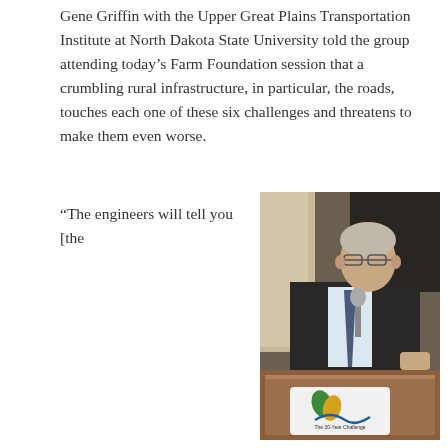Gene Griffin with the Upper Great Plains Transportation Institute at North Dakota State University told the group attending today’s Farm Foundation session that a crumbling rural infrastructure, in particular, the roads, touches each one of these six challenges and threatens to make them even worse.
“The engineers will tell you [the
[Figure (photo): A man in a dark suit and tie stands at a wooden podium speaking into a microphone. The podium displays a logo for 'The 30-Year Challenge' with green and gold leaf/flame motifs and a blue curved line. The background is a dimly lit room.]